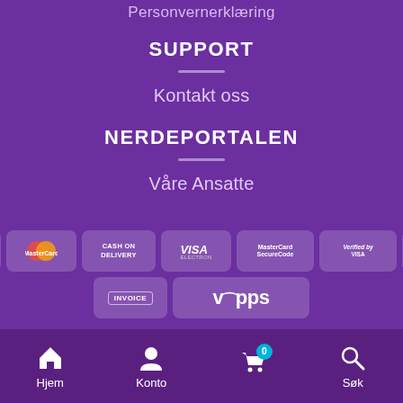Personvernerklæring
SUPPORT
Kontakt oss
NERDEPORTALEN
Våre Ansatte
[Figure (other): Payment method logos: VISA, MasterCard, Cash on Delivery, VISA Electron, MasterCard SecureCode, Verified by VISA, Cash on Pickup, Invoice, Vipps]
Hjem  Konto  (cart 0)  Søk